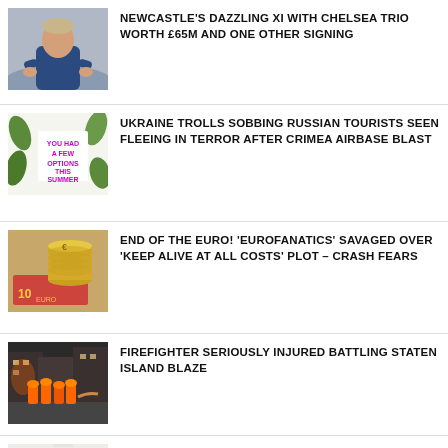[Figure (photo): Man in blue jacket applauding, football manager]
NEWCASTLE'S DAZZLING XI WITH CHELSEA TRIO WORTH £65M AND ONE OTHER SIGNING
[Figure (photo): Advertisement image with purple text: YOU HAD A FEW OPTIONS THIS SUMMER]
UKRAINE TROLLS SOBBING RUSSIAN TOURISTS SEEN FLEEING IN TERROR AFTER CRIMEA AIRBASE BLAST
[Figure (photo): Euro coins and banknotes stacked]
END OF THE EURO! 'EUROFANATICS' SAVAGED OVER 'KEEP ALIVE AT ALL COSTS' PLOT – CRASH FEARS
[Figure (photo): Firefighters at scene of blaze on street]
FIREFIGHTER SERIOUSLY INJURED BATTLING STATEN ISLAND BLAZE
[Figure (photo): Modern office interior, minimalist beige tones]
INSIDE KIM KARDASHIAN'S SKKN BY KIM OFFICE: THE BILLIONAIRE TOURS THE MASSIVE SPACE FOR HER BRAND